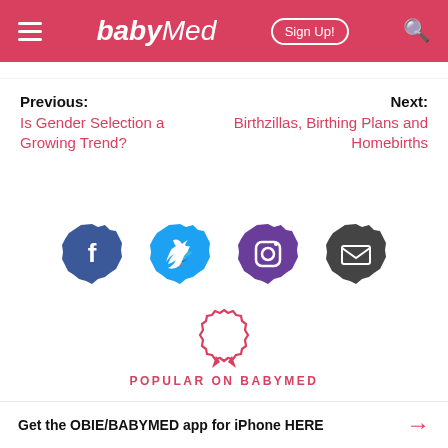babyMed | Sign Up!
Previous: Is Gender Selection a Growing Trend?
Next: Birthzillas, Birthing Plans and Homebirths
[Figure (infographic): Social media icons: Facebook (blue badge), Twitter (blue badge), Instagram (purple badge), Email (dark badge), and a red ribbon/award icon above 'POPULAR ON BABYMED' text]
POPULAR ON BABYMED
Get the OBIE/BABYMED app for iPhone HERE →